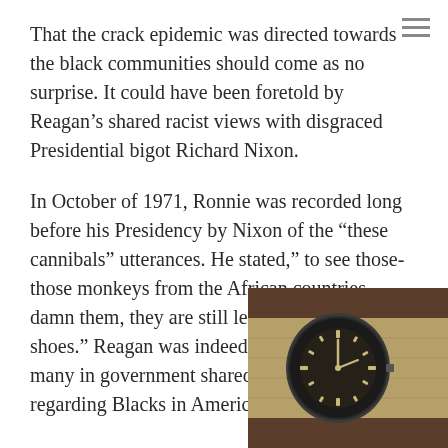That the crack epidemic was directed towards the black communities should come as no surprise. It could have been foretold by Reagan’s shared racist views with disgraced Presidential bigot Richard Nixon.
In October of 1971, Ronnie was recorded long before his Presidency by Nixon of the “these cannibals” utterances. He stated,” to see those- those monkeys from the African countries, damn them, they are still learning how to wear shoes.” Reagan was indeed a man of his time as many in government shared this sentiment regarding Blacks in America.
This ideology seems to have played out in h...
[Figure (photo): A vintage wristwatch with a dark dial on a khaki/olive NATO strap, photographed on a brown surface, partially overlapping the text in the bottom right corner.]